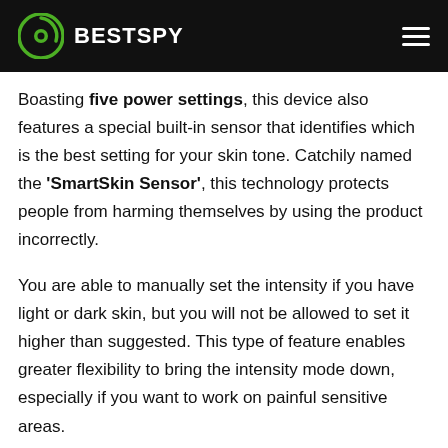BESTSPY
Boasting five power settings, this device also features a special built-in sensor that identifies which is the best setting for your skin tone. Catchily named the ‘SmartSkin Sensor’, this technology protects people from harming themselves by using the product incorrectly.
You are able to manually set the intensity if you have light or dark skin, but you will not be allowed to set it higher than suggested. This type of feature enables greater flexibility to bring the intensity mode down, especially if you want to work on painful sensitive areas.
Either way, if a users’ skin is too dark, it will lock itself and